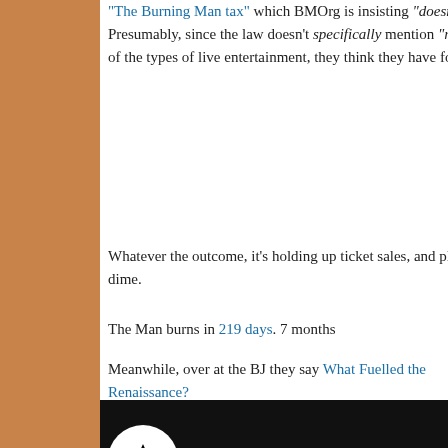"The Burning Man tax" which BMOrg is insisting "doesn't apply to them since they don't provide live entertainment". Presumably, since the law doesn't specifically mention "ritual effigy burn in front of a crowd of 80,000 people" as one of the types of live entertainment, they think they have found a loophole to finagle.
[Figure (photo): Photo of a street scene with colorful buildings and a vehicle, partially visible in upper right corner]
Whatever the outcome, it's holding up ticket sales, and plans, for the create Black Rock City and provide all the Live Entertainment (as pe dime.
The Man burns in 219 days. 7 months
Meanwhile, over at the BJ they say What Fuelled the Renaissance? Cash?
[Figure (screenshot): YouTube video thumbnail showing Wu-Tang Clan - C.R.E.A.M (HD) Best Quality video with Wu-Tang logo and dark background]